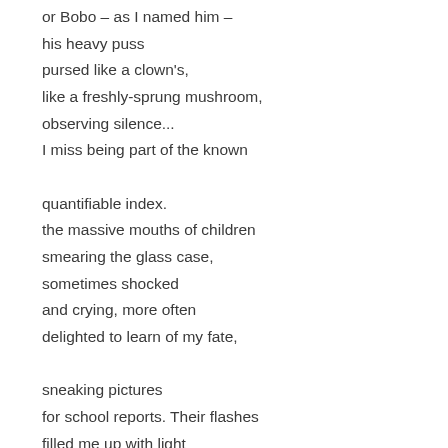or Bobo – as I named him –
his heavy puss
pursed like a clown's,
like a freshly-sprung mushroom,
observing silence...
I miss being part of the known

quantifiable index.
the massive mouths of children
smearing the glass case,
sometimes shocked
and crying, more often
delighted to learn of my fate,

sneaking pictures
for school reports. Their flashes
filled me up with light